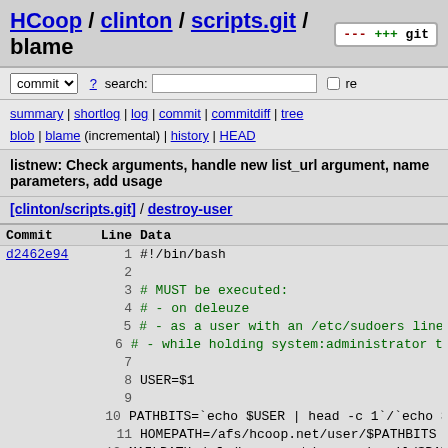HCoop / clinton / scripts.git / blame
commit ? search: re
summary | shortlog | log | commit | commitdiff | tree blob | blame (incremental) | history | HEAD
listnew: Check arguments, handle new list_url argument, name parameters, add usage
[clinton/scripts.git] / destroy-user
| Commit | Line | Data |
| --- | --- | --- |
| d2462e94 | 1 | #!/bin/bash |
|  | 2 |  |
|  | 3 | # MUST be executed: |
|  | 4 | #  - on deleuze |
|  | 5 | #  - as a user with an /etc/sudoers line |
|  | 6 | #  - while holding system:administrator toke |
|  | 7 |  |
|  | 8 | USER=$1 |
|  | 9 |  |
|  | 10 | PATHBITS=`echo $USER | head -c 1`/`echo $USE |
|  | 11 | HOMEPATH=/afs/hcoop.net/user/$PATHBITS |
|  | 12 | MAILPATH=/afs/hcoop.net/common/email/$PATHBI |
|  | 13 | DBPATH=/afs/.hcoop.net/common/.databases/$PA |
|  | 14 | # We don't use separate partitions for logs |
|  | 15 | #LOGSPATH=/afs/.hcoop.net/common/.logs/$USER |
|  | 16 |  |
|  | 17 | sudo rm -f /etc/hatche/mailfilter/$USER |